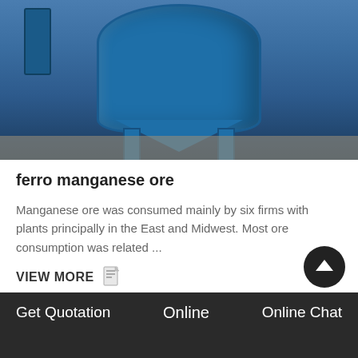[Figure (photo): Photo of a blue industrial ferro manganese ore processing vessel/tank with legs, mounted on a floor with industrial piping visible on the left side.]
ferro manganese ore
Manganese ore was consumed mainly by six firms with plants principally in the East and Midwest. Most ore consumption was related ...
VIEW MORE
Get Quotation   Online   Online Chat